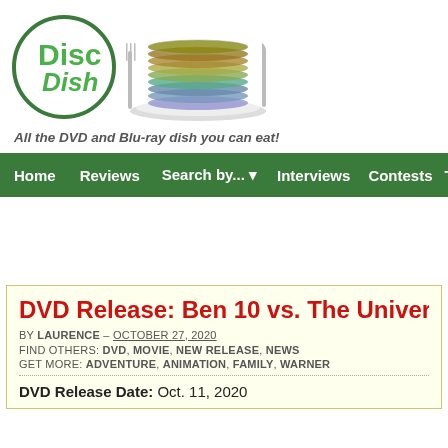[Figure (logo): Disc Dish logo: green circle with 'Disc Dish' text, a stack of DVDs/Blu-rays on a plate with fork and knife]
All the DVD and Blu-ray dish you can eat!
Home  Reviews  Search by...  Interviews  Contests  Tod
DVD Release: Ben 10 vs. The Universe: T
BY LAURENCE – OCTOBER 27, 2020
FIND OTHERS: DVD, MOVIE, NEW RELEASE, NEWS
GET MORE: ADVENTURE, ANIMATION, FAMILY, WARNER
DVD Release Date: Oct. 11, 2020